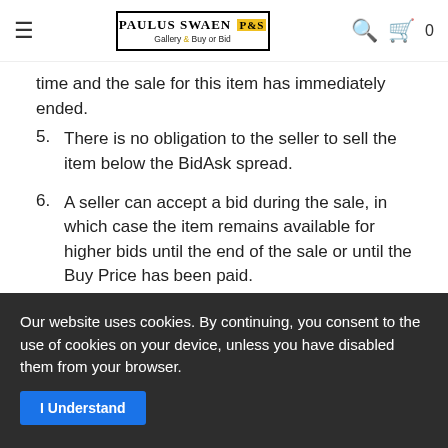Paulus Swaen Gallery & Buy or Bid
time and the sale for this item has immediately ended.
5. There is no obligation to the seller to sell the item below the BidAsk spread.
6. A seller can accept a bid during the sale, in which case the item remains available for higher bids until the end of the sale or until the Buy Price has been paid.
7. Unsold items are no longer available after the end of the sale.
BUYERS COMMISSION
Our website uses cookies. By continuing, you consent to the use of cookies on your device, unless you have disabled them from your browser.